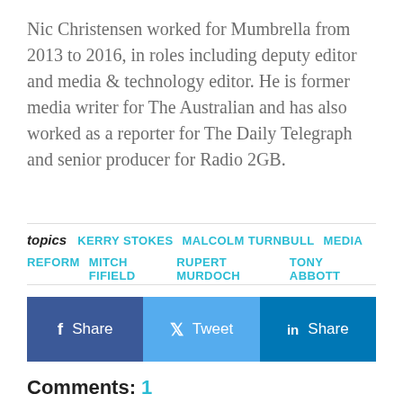Nic Christensen worked for Mumbrella from 2013 to 2016, in roles including deputy editor and media & technology editor. He is former media writer for The Australian and has also worked as a reporter for The Daily Telegraph and senior producer for Radio 2GB.
topics  KERRY STOKES  MALCOLM TURNBULL  MEDIA REFORM  MITCH FIFIELD  RUPERT MURDOCH  TONY ABBOTT
[Figure (other): Social sharing buttons: Facebook Share, Twitter Tweet, LinkedIn Share]
Comments: 1